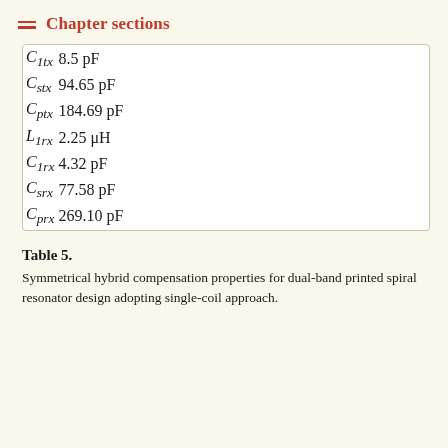Chapter sections
| C_1tx | 8.5 pF |
| C_stx | 94.65 pF |
| C_ptx | 184.69 pF |
| L_1rx | 2.25 μH |
| C_1rx | 4.32 pF |
| C_srx | 77.58 pF |
| C_prx | 269.10 pF |
Table 5.
Symmetrical hybrid compensation properties for dual-band printed spiral resonator design adopting single-coil approach.